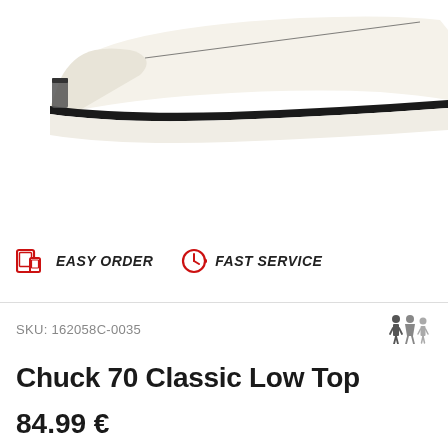[Figure (photo): Partial side view of a white Converse Chuck 70 Classic Low Top sneaker, cropped showing the toe area and sole stripe against white background]
[Figure (infographic): Two red badges: a tablet/device icon with text EASY ORDER, and a clock icon with text FAST SERVICE]
SKU: 162058C-0035
Chuck 70 Classic Low Top
84.99 €